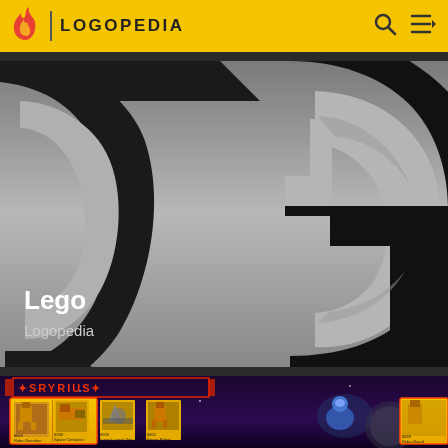LOGOPEDIA
[Figure (logo): Logopedia website header with flame logo icon and LOGOPEDIA text in bold uppercase on yellow background, with search and menu icons on right]
[Figure (photo): Large close-up of LEGO logo letters in black on a grey gradient background, showing portions of C and G letters (or S and G). White text 'Lego' and 'Logopedia' overlaid at bottom left.]
Lego
Logopedia
[Figure (photo): LEGO Space theme set packaging showing multiple space robots and vehicles including Robo-Guardian (6849), Space Centurion (6939), Lunar Launch Site (6959), Recon Robot (6851), and Robo-Guard (6849). SRYRIUS banner text in red at top. Dark space background with colorful LEGO figures and sets displayed on yellow product cards.]